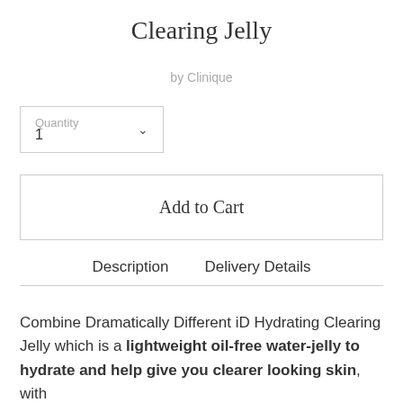Clearing Jelly
by Clinique
Quantity
1
Add to Cart
Description   Delivery Details
Combine Dramatically Different iD Hydrating Clearing Jelly which is a lightweight oil-free water-jelly to hydrate and help give you clearer looking skin, with